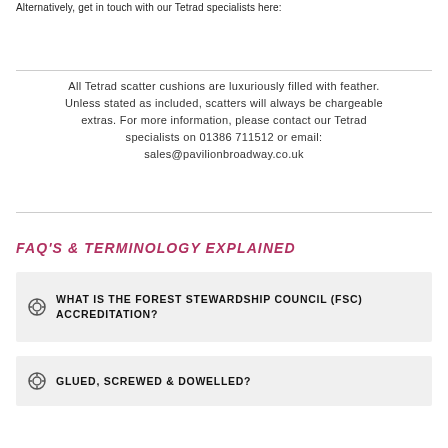Alternatively, get in touch with our Tetrad specialists here:
All Tetrad scatter cushions are luxuriously filled with feather. Unless stated as included, scatters will always be chargeable extras. For more information, please contact our Tetrad specialists on 01386 711512 or email: sales@pavilionbroadway.co.uk
FAQ'S & TERMINOLOGY EXPLAINED
WHAT IS THE FOREST STEWARDSHIP COUNCIL (FSC) ACCREDITATION?
GLUED, SCREWED & DOWELLED?